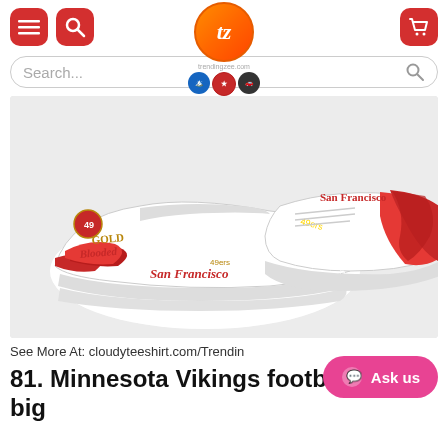[Figure (screenshot): E-commerce website header with red menu and search icons on left, orange/red circular logo with 'tz' in center, red cart icon on right, trust badges below logo]
[Figure (photo): San Francisco 49ers themed custom sneakers - white shoes with red flame design and gold/red team branding showing 'Gold Blooded' and 'San Francisco 49ers' text]
See More At: cloudyteeshirt.com/Trendin
81. Minnesota Vikings football NEL big